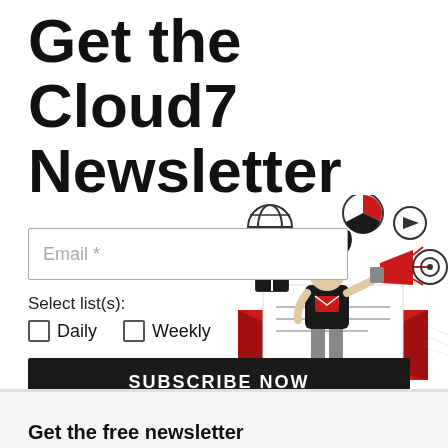Get the Cloud7 Newsletter
Email *
Select list(s):
Daily
Weekly
SUBSCRIBE NOW
By subscribing, you agree to our
Copyright Policy and Privacy Poli
[Figure (illustration): A woman holding a megaphone standing in front of an open red envelope, surrounded by icons (globe, pie chart, play button, target, gift box)]
Get the free newsletter